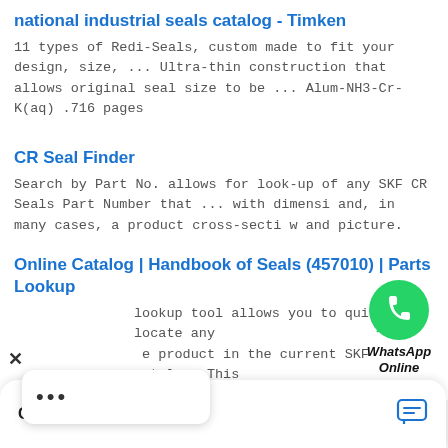national industrial seals catalog - Timken
11 types of Redi-Seals, custom made to fit your design, size, ... Ultra-thin construction that allows original seal size to be ... Alum-NH3-Cr-K(aq) .716 pages
CR Seal Finder
Search by Part No. allows for look-up of any SKF CR Seals Part Number that ... with dimensions and, in many cases, a product cross-section and picture.
[Figure (illustration): WhatsApp Online chat bubble icon with green phone logo and italic WhatsApp Online text]
Online Catalog | Handbook of Seals (457010) | Parts Lookup
This lookup tool allows you to quickly locate any product in the current SKF catalog. This can be done by entering the stock number (if known), ...
[Figure (screenshot): Popup overlay with X close button and three dots menu]
Chat now